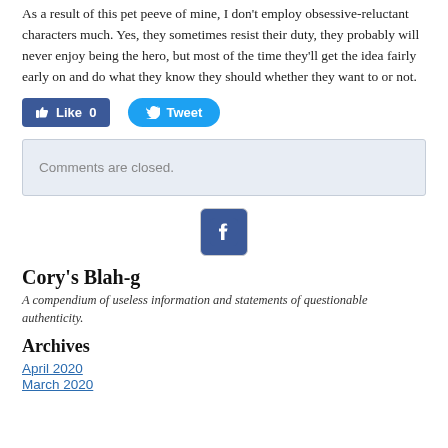As a result of this pet peeve of mine, I don't employ obsessive-reluctant characters much. Yes, they sometimes resist their duty, they probably will never enjoy being the hero, but most of the time they'll get the idea fairly early on and do what they know they should whether they want to or not.
[Figure (other): Facebook Like button (blue, count 0) and Twitter Tweet button (blue rounded)]
Comments are closed.
[Figure (logo): Facebook icon logo square]
Cory's Blah-g
A compendium of useless information and statements of questionable authenticity.
Archives
April 2020
March 2020